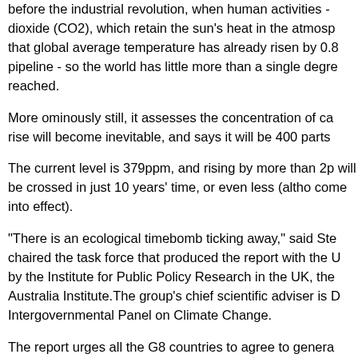before the industrial revolution, when human activities - dioxide (CO2), which retain the sun's heat in the atmosp... that global average temperature has already risen by 0.8 pipeline - so the world has little more than a single degre reached.
More ominously still, it assesses the concentration of ca... rise will become inevitable, and says it will be 400 parts
The current level is 379ppm, and rising by more than 2p... will be crossed in just 10 years' time, or even less (altho... come into effect).
"There is an ecological timebomb ticking away," said Ste... chaired the task force that produced the report with the U... by the Institute for Public Policy Research in the UK, the... Australia Institute.The group's chief scientific adviser is D... Intergovernmental Panel on Climate Change.
The report urges all the G8 countries to agree to genera... 2025, and to double their research spending on low-carb... form a climate group with leading developing nations suc... emissions.
"What this underscores is that it's what we invest in now... not what we do in the middle of the century or later," sai...